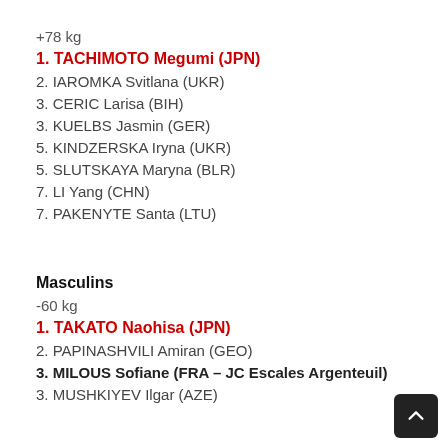+78 kg
1. TACHIMOTO Megumi (JPN)
2. IAROMKA Svitlana (UKR)
3. CERIC Larisa (BIH)
3. KUELBS Jasmin (GER)
5. KINDZERSKA Iryna (UKR)
5. SLUTSKAYA Maryna (BLR)
7. LI Yang (CHN)
7. PAKENYTE Santa (LTU)
Masculins
-60 kg
1. TAKATO Naohisa (JPN)
2. PAPINASHVILI Amiran (GEO)
3. MILOUS Sofiane (FRA – JC Escales Argenteuil)
3. MUSHKIYEV Ilgar (AZE)